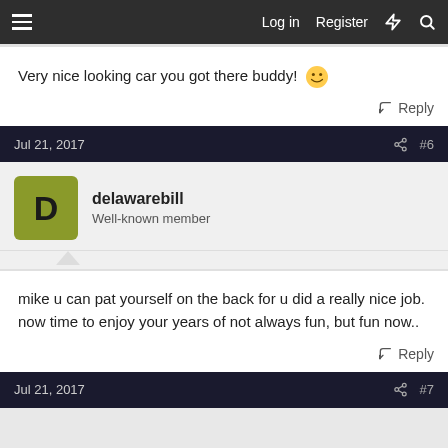Log in   Register
Very nice looking car you got there buddy! 🙂
Reply
Jul 21, 2017   #6
delawarebill
Well-known member
mike u can pat yourself on the back for u did a really nice job. now time to enjoy your years of not always fun, but fun now..
Reply
Jul 21, 2017   #7